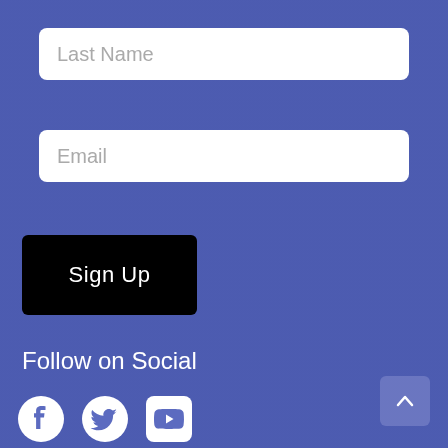Last Name
Email
Sign Up
Follow on Social
[Figure (illustration): Social media icons: Facebook, Twitter, YouTube in white on blue background]
[Figure (other): Back to top button with upward caret arrow]